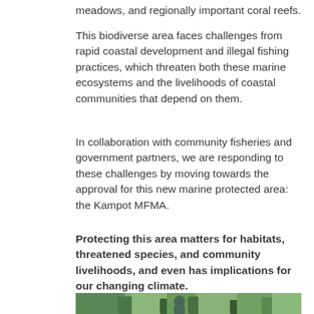meadows, and regionally important coral reefs.
This biodiverse area faces challenges from rapid coastal development and illegal fishing practices, which threaten both these marine ecosystems and the livelihoods of coastal communities that depend on them.
In collaboration with community fisheries and government partners, we are responding to these challenges by moving towards the approval for this new marine protected area: the Kampot MFMA.
Protecting this area matters for habitats, threatened species, and community livelihoods, and even has implications for our changing climate.
[Figure (photo): Person working or examining something among tree branches or mangroves, outdoors in a natural coastal environment]